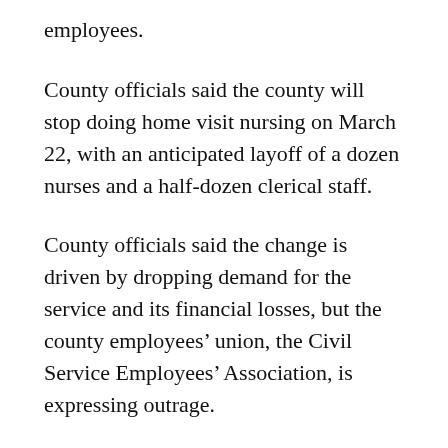employees.
County officials said the county will stop doing home visit nursing on March 22, with an anticipated layoff of a dozen nurses and a half-dozen clerical staff.
County officials said the change is driven by dropping demand for the service and its financial losses, but the county employees’ union, the Civil Service Employees’ Association, is expressing outrage.
The union said the information only reached it on Thursday — the same day the county announced the service elimination to the public, though without